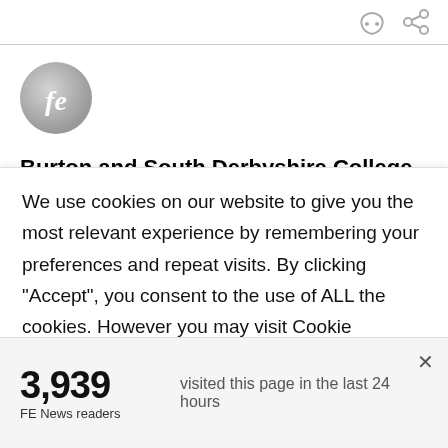[Figure (logo): FE News circular grey logo with 'fe' text in white]
Burton and South Derbyshire College (BSDC)
Follow Burton and South Derbyshire College (BSDC):
[Figure (illustration): Partial social media icon buttons (Twitter/Facebook circles, partially visible)]
We use cookies on our website to give you the most relevant experience by remembering your preferences and repeat visits. By clicking “Accept”, you consent to the use of ALL the cookies. However you may visit Cookie
3,939
FE News readers
visited this page in the last 24 hours